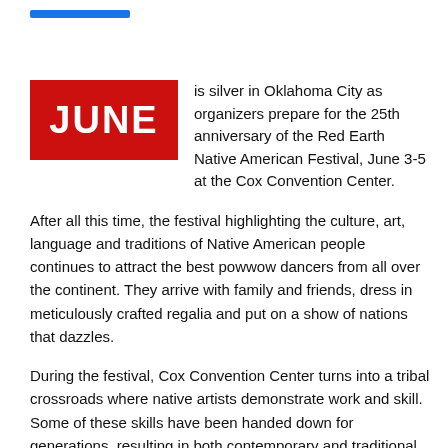[Figure (other): Red box with white bold text reading JUNE, paired with introductory text about the 25th anniversary of the Red Earth Native American Festival]
is silver in Oklahoma City as organizers prepare for the 25th anniversary of the Red Earth Native American Festival, June 3-5 at the Cox Convention Center.
After all this time, the festival highlighting the culture, art, language and traditions of Native American people continues to attract the best powwow dancers from all over the continent. They arrive with family and friends, dress in meticulously crafted regalia and put on a show of nations that dazzles.
During the festival, Cox Convention Center turns into a tribal crossroads where native artists demonstrate work and skill. Some of these skills have been handed down for generations, resulting in both contemporary and traditional basketry, beadwork, jewelry and pottery. Sculpture, painting and new art forms are all part of the juried show and market, which means visitors can take a little of Red Earth with them.